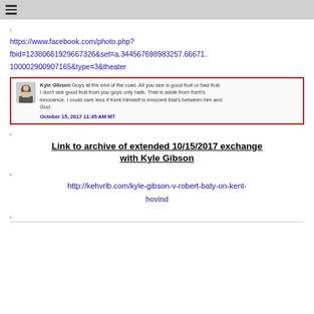≡
,
https://www.facebook.com/photo.php?fbid=12380661929667326set=a.344567698983257.66671.100002900907165&type=3&theater
[Figure (screenshot): Screenshot of Kyle Gibson Facebook post: 'Guys at the end of the road. All you see is good fruit or bad fruit. I don't see good fruit from you guys only hate. That is aside from Kent's innocence. I could care less if Kent Himself is innocent that's between him and God. October 15, 2017 11:45 AM MT']
,
Link to archive of extended 10/15/2017 exchange with Kyle Gibson
,
http://kehvrlb.com/kyle-gibson-v-robert-baty-on-kent-hovind
,